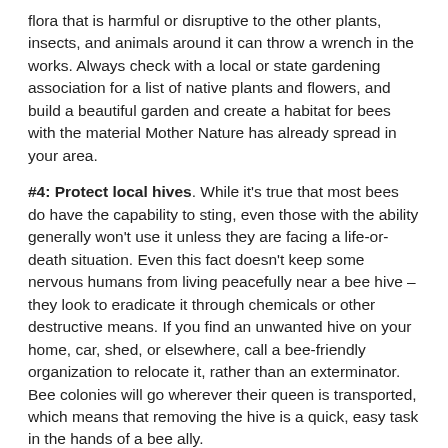flora that is harmful or disruptive to the other plants, insects, and animals around it can throw a wrench in the works. Always check with a local or state gardening association for a list of native plants and flowers, and build a beautiful garden and create a habitat for bees with the material Mother Nature has already spread in your area.
#4: Protect local hives. While it's true that most bees do have the capability to sting, even those with the ability generally won't use it unless they are facing a life-or-death situation. Even this fact doesn't keep some nervous humans from living peacefully near a bee hive – they look to eradicate it through chemicals or other destructive means. If you find an unwanted hive on your home, car, shed, or elsewhere, call a bee-friendly organization to relocate it, rather than an exterminator. Bee colonies will go wherever their queen is transported, which means that removing the hive is a quick, easy task in the hands of a bee ally.
#5: Eliminate pesticides in your lawn-care routines. Pesticides can be harmful or even deadly to bees and their habitat, disrupting their nervous systems, killing them outright, or poisoning the edible materials they bring back to share with the